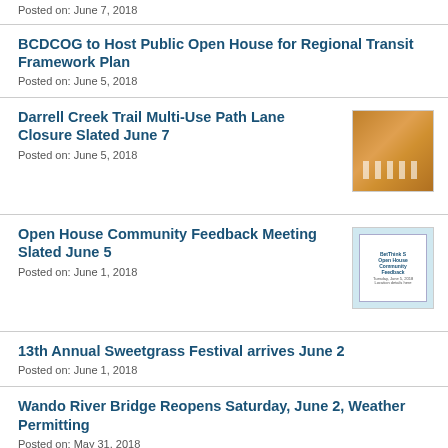Posted on: June 7, 2018
BCDCOG to Host Public Open House for Regional Transit Framework Plan
Posted on: June 5, 2018
Darrell Creek Trail Multi-Use Path Lane Closure Slated June 7
[Figure (photo): Orange road construction barrel/cone]
Posted on: June 5, 2018
Open House Community Feedback Meeting Slated June 5
[Figure (photo): Open House Community Feedback meeting flyer/document thumbnail]
Posted on: June 1, 2018
13th Annual Sweetgrass Festival arrives June 2
Posted on: June 1, 2018
Wando River Bridge Reopens Saturday, June 2, Weather Permitting
Posted on: May 31, 2018